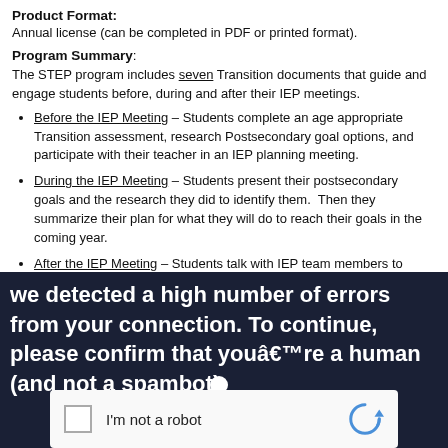Product Format:
Annual license (can be completed in PDF or printed format).
Program Summary:
The STEP program includes seven Transition documents that guide and engage students before, during and after their IEP meetings.
Before the IEP Meeting – Students complete an age appropriate Transition assessment, research Postsecondary goal options, and participate with their teacher in an IEP planning meeting.
During the IEP Meeting – Students present their postsecondary goals and the research they did to identify them.  Then they summarize their plan for what they will do to reach their goals in the coming year.
After the IEP Meeting – Students talk with IEP team members to identify important tasks, work to complete them, and track progress.
There are two STEP program options available based on whether a student is identifying their initial Postsecondary goals or updating them.
[Figure (screenshot): CAPTCHA verification overlay on dark navy background: text reading 'We detected a high number of errors from your connection. To continue, please confirm that youâ€™re a human (and not a spambot).' with a reCAPTCHA checkbox widget showing 'I'm not a robot'.]